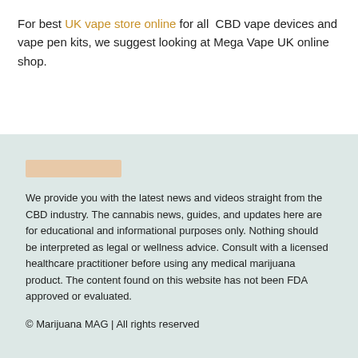For best UK vape store online for all CBD vape devices and vape pen kits, we suggest looking at Mega Vape UK online shop.
[Figure (other): Peach/beige colored rectangular bar placeholder in the teal-tinted footer section]
We provide you with the latest news and videos straight from the CBD industry. The cannabis news, guides, and updates here are for educational and informational purposes only. Nothing should be interpreted as legal or wellness advice. Consult with a licensed healthcare practitioner before using any medical marijuana product. The content found on this website has not been FDA approved or evaluated.
© Marijuana MAG | All rights reserved